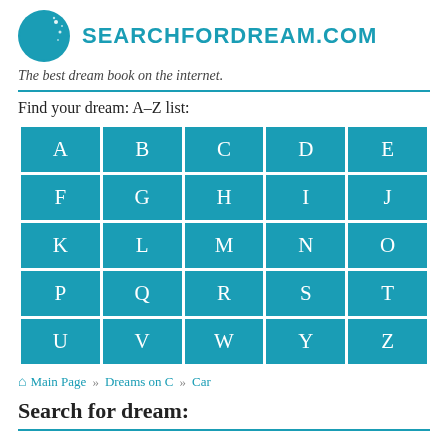SEARCHFORDREAM.COM
The best dream book on the internet.
Find your dream: A-Z list:
| A | B | C | D | E |
| F | G | H | I | J |
| K | L | M | N | O |
| P | Q | R | S | T |
| U | V | W | Y | Z |
Main Page » Dreams on C » Car
Search for dream: